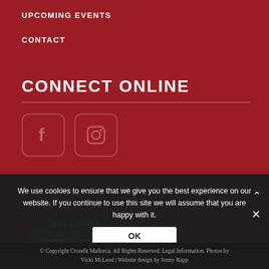UPCOMING EVENTS
CONTACT
CONNECT ONLINE
[Figure (illustration): Facebook icon in a rounded rectangle outline]
[Figure (illustration): Instagram camera icon in a rounded rectangle outline]
[Figure (logo): Mallorca Fitness Holidays logo with green ribbon banner design]
We use cookies to ensure that we give you the best experience on our website. If you continue to use this site we will assume that you are happy with it.
© Copyright Crossfit Mallorca. All Rights Reserved. Legal Information. Photos by Vicki McLeod | Website design by Jonny Rapp